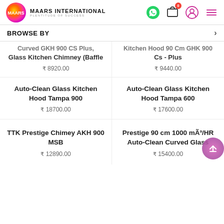MAARS INTERNATIONAL — PLENTITUDE OF SUCCESS
BROWSE BY
Curved GKH 900 CS Plus, Glass Kitchen Chimney (Baffle — ₹8920.00
Kitchen Hood 90 Cm GHK 900 Cs - Plus — ₹9440.00
Auto-Clean Glass Kitchen Hood Tampa 900 — ₹18700.00
Auto-Clean Glass Kitchen Hood Tampa 600 — ₹17600.00
TTK Prestige Chimey AKH 900 MSB — ₹12890.00
Prestige 90 cm 1000 mÃ³/HR Auto-Clean Curved Glass — ₹15400.00